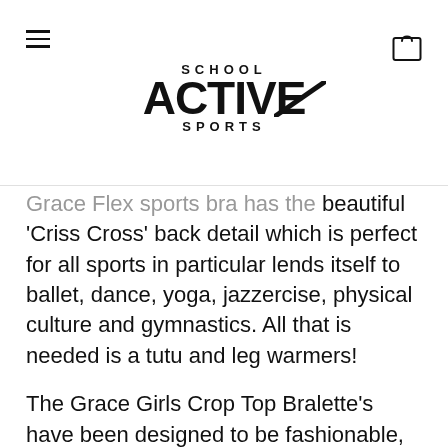SCHOOL ACTIVE SPORTS
Grace Flex sports bra has the beautiful 'Criss Cross' back detail which is perfect for all sports in particular lends itself to ballet, dance, yoga, jazzercise, physical culture and gymnastics. All that is needed is a tutu and leg warmers!
The Grace Girls Crop Top Bralette's have been designed to be fashionable, functional, mix into your child's and tweens everyday wardrobe, wear to school, or to play sports. Our Magenta Pink girls sports